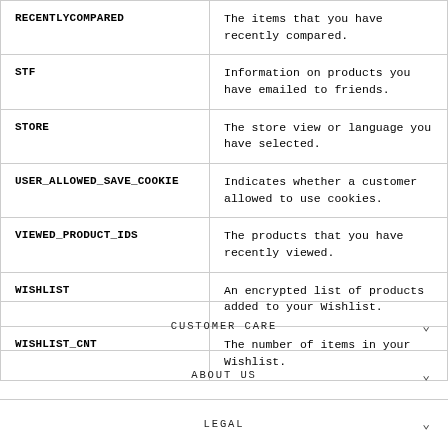| Cookie Name | Description |
| --- | --- |
| RECENTLYCOMPARED | The items that you have recently compared. |
| STF | Information on products you have emailed to friends. |
| STORE | The store view or language you have selected. |
| USER_ALLOWED_SAVE_COOKIE | Indicates whether a customer allowed to use cookies. |
| VIEWED_PRODUCT_IDS | The products that you have recently viewed. |
| WISHLIST | An encrypted list of products added to your Wishlist. |
| WISHLIST_CNT | The number of items in your Wishlist. |
CUSTOMER CARE
ABOUT US
LEGAL